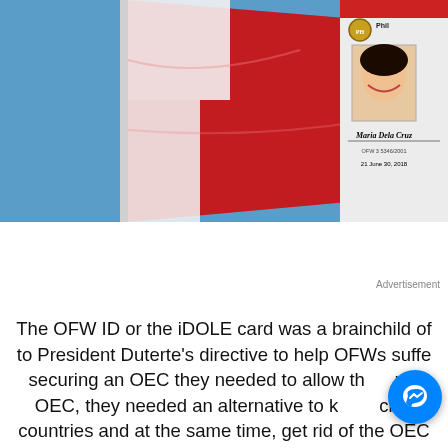[Figure (photo): Composite image showing a red and white flag (Philippine flag) against a blue sky on the left, and an OFW ID card (iDOLE card) on the right showing a photo of a young woman, name 'Maria Dela Cruz', and date 'June 30, 2018']
Advertisement
The OFW ID or the iDOLE card was a brainchild of to President Duterte's directive to help OFWs suffe securing an OEC they needed to allow th wo OEC, they needed an alternative to k ck d countries and at the same time, get rid of the OEC